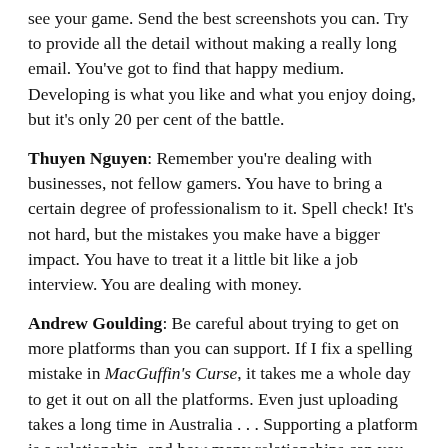see your game. Send the best screenshots you can. Try to provide all the detail without making a really long email. You've got to find that happy medium. Developing is what you like and what you enjoy doing, but it's only 20 per cent of the battle.
Thuyen Nguyen: Remember you're dealing with businesses, not fellow gamers. You have to bring a certain degree of professionalism to it. Spell check! It's not hard, but the mistakes you make have a bigger impact. You have to treat it a little bit like a job interview. You are dealing with money.
Andrew Goulding: Be careful about trying to get on more platforms than you can support. If I fix a spelling mistake in MacGuffin's Curse, it takes me a whole day to get it out on all the platforms. Even just uploading takes a long time in Australia . . . Supporting a platform is a relationship, and how many relationships can you actively support?
Steam's Greenlight scheme costs $100 merely for consideration. Is that worthwhile for developers?